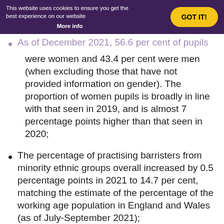Percentage of Pupils, December 2021,
This website uses cookies to ensure you get the best experience on our website. More info. GOT IT!
As of December 2021, 56.6 per cent of pupils were women and 43.4 per cent were men (when excluding those that have not provided information on gender). The proportion of women pupils is broadly in line with that seen in 2019, and is almost 7 percentage points higher than that seen in 2020;
The percentage of practising barristers from minority ethnic groups overall increased by 0.5 percentage points in 2021 to 14.7 per cent, matching the estimate of the percentage of the working age population in England and Wales (as of July-September 2021);
Different minority ethnic groups have varied